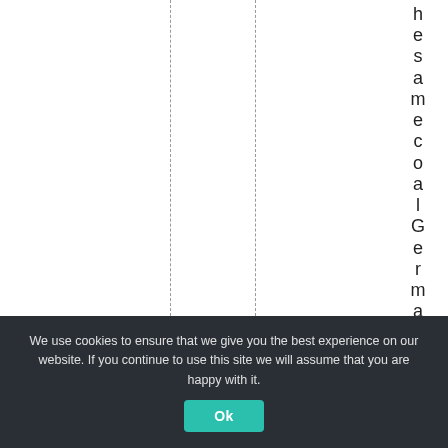hesamecoa l Germany a
We use cookies to ensure that we give you the best experience on our website. If you continue to use this site we will assume that you are happy with it.
Ok